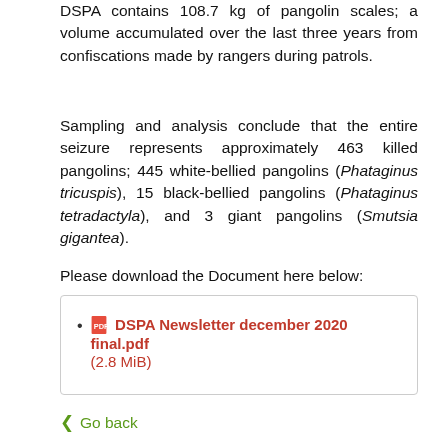DSPA contains 108.7 kg of pangolin scales; a volume accumulated over the last three years from confiscations made by rangers during patrols.
Sampling and analysis conclude that the entire seizure represents approximately 463 killed pangolins; 445 white-bellied pangolins (Phataginus tricuspis), 15 black-bellied pangolins (Phataginus tetradactyla), and 3 giant pangolins (Smutsia gigantea).
Please download the Document here below:
DSPA Newsletter december 2020 final.pdf (2.8 MiB)
Go back